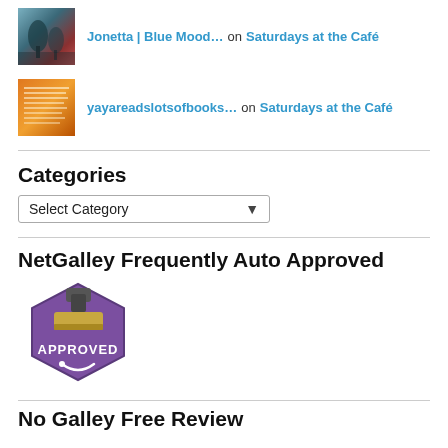Jonetta | Blue Mood… on Saturdays at the Café
yayareadslotsofbooks… on Saturdays at the Café
Categories
Select Category
NetGalley Frequently Auto Approved
[Figure (logo): NetGalley Frequently Auto Approved badge — purple hexagon stamp graphic with 'APPROVED' text and a checkmark/stamp icon]
No Galley Free Review